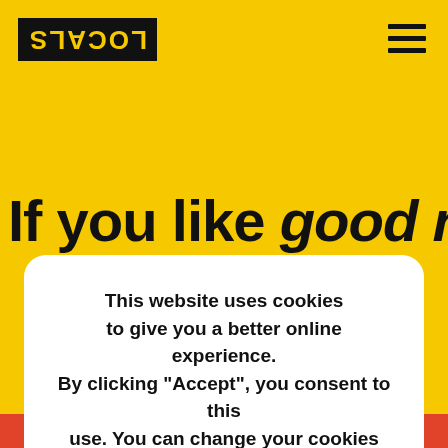[Figure (logo): Locals logo — white text on black background, mirrored/inverted display reading LOCALS]
[Figure (other): Hamburger menu icon — three horizontal black lines]
If you like good news
This website uses cookies to give you a better online experience. By clicking "Accept", you consent to this use. You can change your cookies choice at any time. Learn more in our Cookie Policy.
ACCEPT